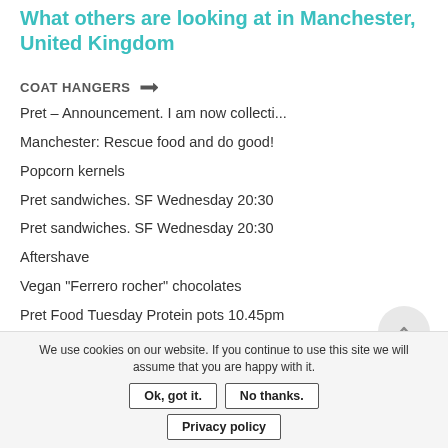What others are looking at in Manchester, United Kingdom
COAT HANGERS →
Pret – Announcement. I am now collecti...
Manchester: Rescue food and do good!
Popcorn kernels
Pret sandwiches. SF Wednesday 20:30
Pret sandwiches. SF Wednesday 20:30
Aftershave
Vegan "Ferrero rocher" chocolates
Pret Food Tuesday Protein pots 10.45pm
Pret a Manger Flat Bread
JLo Deseo 50ml
We use cookies on our website. If you continue to use this site we will assume that you are happy with it. Ok, got it. No thanks. Privacy policy